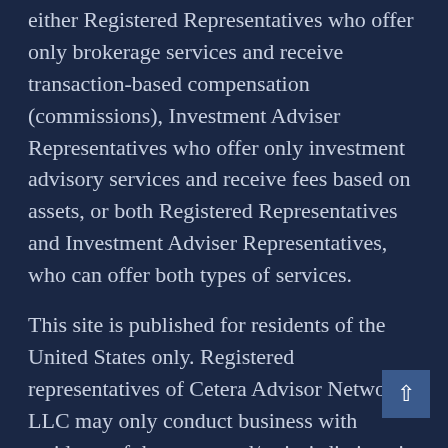either Registered Representatives who offer only brokerage services and receive transaction-based compensation (commissions), Investment Adviser Representatives who offer only investment advisory services and receive fees based on assets, or both Registered Representatives and Investment Adviser Representatives, who can offer both types of services.
This site is published for residents of the United States only. Registered representatives of Cetera Advisor Networks LLC may only conduct business with residents of the states and/or jurisdictions in which they are properly registered. Not all of the products and services referenced on this site may be available in every state and through every representative listed. For additional information, please contact the representative (s) listed on the site or visit the Cetera Advisor Networks site at